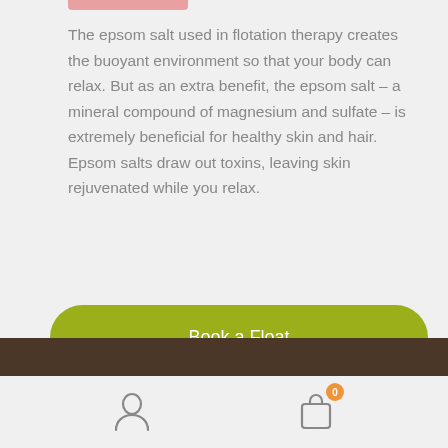[Figure (other): Pink decorative bar at top of content area]
The epsom salt used in flotation therapy creates the buoyant environment so that your body can relax. But as an extra benefit, the epsom salt – a mineral compound of magnesium and sulfate – is extremely beneficial for healthy skin and hair. Epsom salts draw out toxins, leaving skin rejuvenated while you relax.
Book a Float
Navigation bar with user icon and shopping cart icon with badge 0